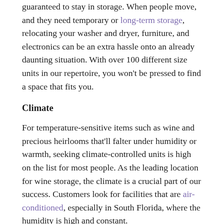guaranteed to stay in storage. When people move, and they need temporary or long-term storage, relocating your washer and dryer, furniture, and electronics can be an extra hassle onto an already daunting situation. With over 100 different size units in our repertoire, you won't be pressed to find a space that fits you.
Climate
For temperature-sensitive items such as wine and precious heirlooms that'll falter under humidity or warmth, seeking climate-controlled units is high on the list for most people. As the leading location for wine storage, the climate is a crucial part of our success. Customers look for facilities that are air-conditioned, especially in South Florida, where the humidity is high and constant.
Accessibility and Safety